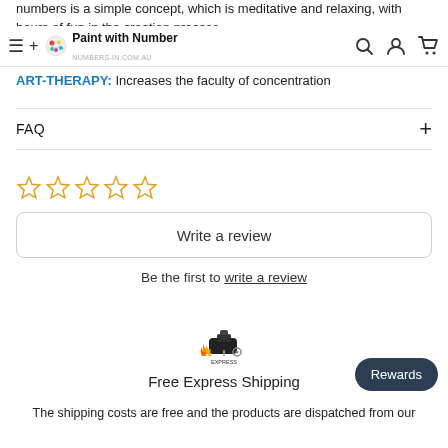numbers is a simple concept, which is meditative and relaxing, with hours of fun in the creation process.
Paint with Number
ART-THERAPY: Increases the faculty of concentration
FAQ
[Figure (other): Five empty star rating icons in orange/gold outline]
Write a review
Be the first to write a review
[Figure (logo): Express shipping icon - sewing machine with flames]
Free Express Shipping
Rewards
The shipping costs are free and the products are dispatched from our